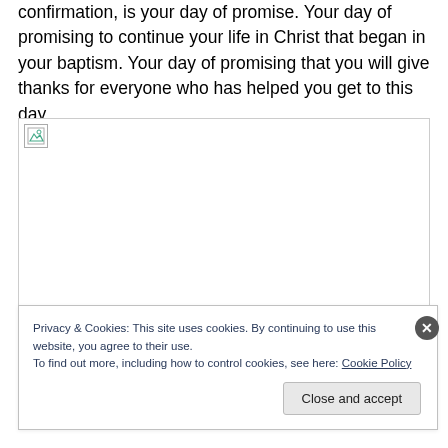confirmation, is your day of promise. Your day of promising to continue your life in Christ that began in your baptism. Your day of promising that you will give thanks for everyone who has helped you get to this day.
[Figure (photo): Broken/missing image placeholder with small icon in top-left corner]
Privacy & Cookies: This site uses cookies. By continuing to use this website, you agree to their use. To find out more, including how to control cookies, see here: Cookie Policy